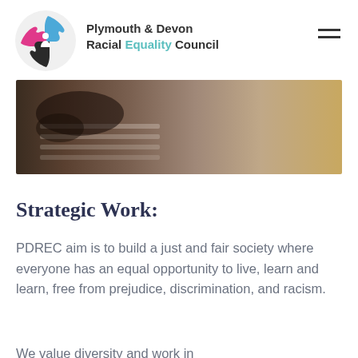[Figure (logo): Plymouth & Devon Racial Equality Council logo — circular puzzle pieces in blue, pink/magenta, and black, with a small figure in the center]
Plymouth & Devon Racial Equality Council
[Figure (photo): Close-up photo of a dark-skinned hand typing on a keyboard, with a warm wooden background on the right side]
Strategic Work:
PDREC aim is to build a just and fair society where everyone has an equal opportunity to live, learn and learn, free from prejudice, discrimination, and racism.
We value diversity and work in